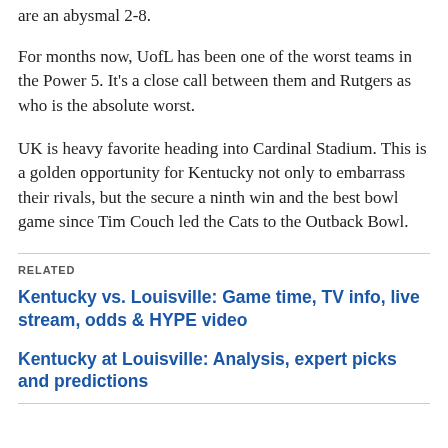are an abysmal 2-8.
For months now, UofL has been one of the worst teams in the Power 5. It's a close call between them and Rutgers as who is the absolute worst.
UK is heavy favorite heading into Cardinal Stadium. This is a golden opportunity for Kentucky not only to embarrass their rivals, but the secure a ninth win and the best bowl game since Tim Couch led the Cats to the Outback Bowl.
RELATED
Kentucky vs. Louisville: Game time, TV info, live stream, odds & HYPE video
Kentucky at Louisville: Analysis, expert picks and predictions